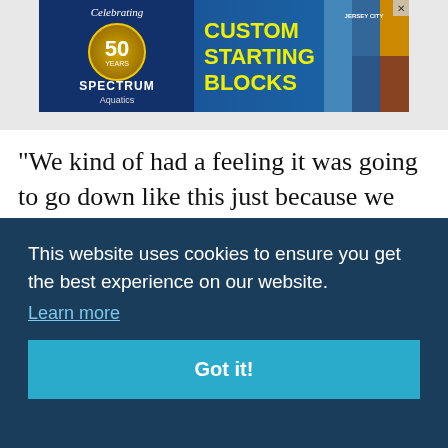[Figure (illustration): Spectrum Aquatics advertisement banner celebrating 50 years, promoting Custom Starting Blocks, with product and event photos on the right side]
“We kind of had a feeling it was going to go down like this just because we knew UNH was probably not going to allow use of their indoor track, and we [text continues, partially obscured] ...lieve ...n of ...t in ...igger ...d of ...e said ...gets
This website uses cookies to ensure you get the best experience on our website.
Learn more
Got it!